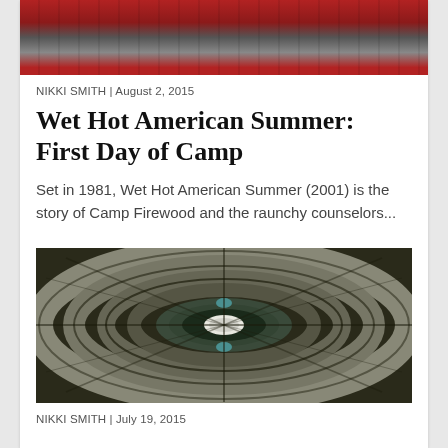[Figure (photo): Top portion of a movie/TV show promotional image with red barn structures and group of people]
NIKKI SMITH | August 2, 2015
Wet Hot American Summer: First Day of Camp
Set in 1981, Wet Hot American Summer (2001) is the story of Camp Firewood and the raunchy counselors...
[Figure (photo): Aerial view of a circular trailer/RV park arranged in concentric rings with green recreational areas in the center]
NIKKI SMITH | July 19, 2015